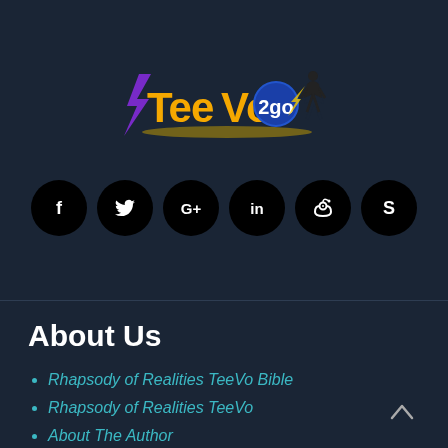[Figure (logo): TeeVo2go logo with stylized yellow/gold text, blue circle with '2go', purple lightning bolt, and silhouette figure]
[Figure (infographic): Six black circular social media icons: Facebook (f), Twitter (bird), Google+ (G+), LinkedIn (in), Pinterest (P), Skype (S)]
About Us
Rhapsody of Realities TeeVo Bible
Rhapsody of Realities TeeVo
About The Author